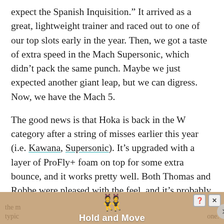expect the Spanish Inquisition.” It arrived as a great, lightweight trainer and raced out to one of our top slots early in the year. Then, we got a taste of extra speed in the Mach Supersonic, which didn’t pack the same punch. Maybe we just expected another giant leap, but we can digress. Now, we have the Mach 5.

The good news is that Hoka is back in the W category after a string of misses earlier this year (i.e. Kawana, Supersonic). It’s upgraded with a layer of ProFly+ foam on top for some extra bounce, and it works pretty well. Both Thomas and Robbe were pleased with the feel, and it’s probably what we expected the Mach Supersonic to be. Could this technically be considered a tempo shoe? Maybe. The Mach 5 is still light and quick, and the rubberized foam is tough enough to soak up your daily training miles (though the m... typic... one...
[Figure (other): Advertisement banner: 'Hold and Move' with cartoon figures, help and close buttons, partially obscuring the bottom of the text.]